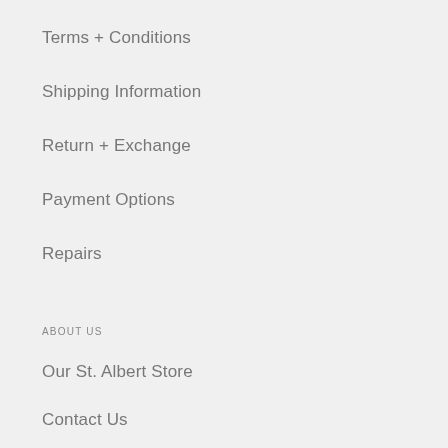Terms + Conditions
Shipping Information
Return + Exchange
Payment Options
Repairs
ABOUT US
Our St. Albert Store
Contact Us